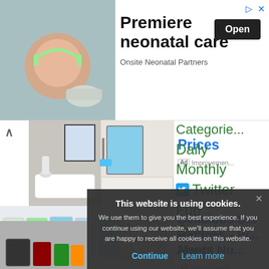[Figure (screenshot): Ad banner: Premiere neonatal care — photo of newborn baby with headphones, Open button, Onsite Neonatal Partners]
[Figure (screenshot): Website screenshot showing bathroom renovation images, navigation links (Prices, Delicious Salmon Recipes - Where Taste Meets Nutrition), sidebar categories (Daily, Monthly, Twitter, Fun, Search, About), and a cookie consent overlay]
Prices
Ad Improvement
Delicious Salmon Recipes - Where Taste Meets Nutrition
Ad chileansalmo
Categories
Daily
Monthly
Twitter
Fun
Search
About
This website is using cookies.
We use them to give you the best experience. If you continue using our website, we'll assume that you are happy to receive all cookies on this website.
Continue
Learn more